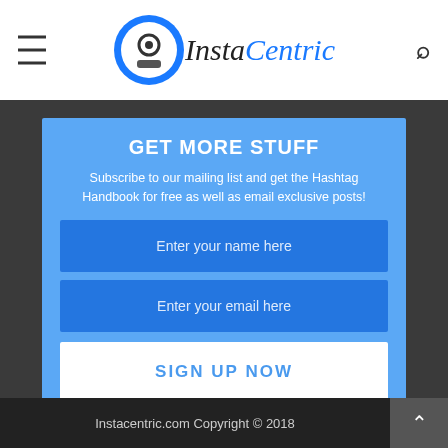[Figure (logo): InstaCentric logo with circular icon and brand name in black italic and blue italic text]
GET MORE STUFF
Subscribe to our mailing list and get the Hashtag Handbook for free as well as email exclusive posts!
Enter your name here
Enter your email here
SIGN UP NOW
we respect your privacy and take protecting it seriously
Instacentric.com Copyright © 2018